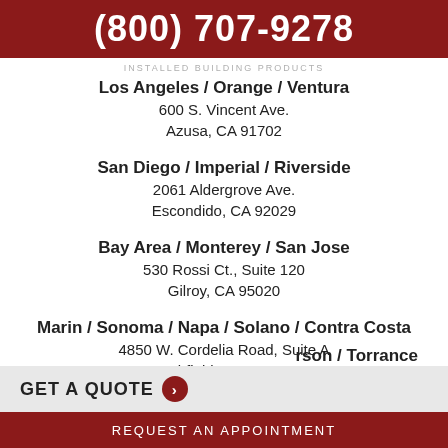(800) 707-9278
INSTALLED BUILDING PRODUCTS
Los Angeles / Orange / Ventura
600 S. Vincent Ave.
Azusa, CA 91702
San Diego / Imperial / Riverside
2061 Aldergrove Ave.
Escondido, CA 92029
Bay Area / Monterey / San Jose
530 Rossi Ct., Suite 120
Gilroy, CA 95020
Marin / Sonoma / Napa / Solano / Contra Costa
4850 W. Cordelia Road, Suite A
Fairfield, CA 94534
GET A QUOTE
rson / Torrance
REQUEST AN APPOINTMENT